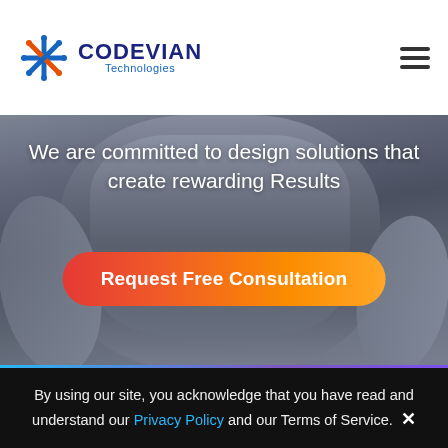[Figure (logo): Codevian Technologies logo with stylized star/snowflake icon in blue and orange, followed by company name]
[Figure (photo): Dark hero banner with blurred person wearing grey sweater as background]
We are committed to design solutions that create rewarding Results
Request Free Consultation
Our Services
Providing end to end web and mobile
By using our site, you acknowledge that you have read and understand our Privacy Policy and our Terms of Service.  ✕